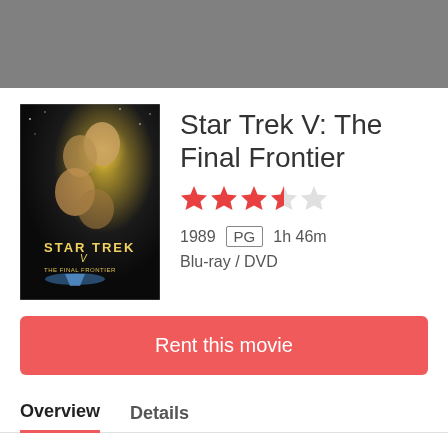[Figure (photo): Star Trek V: The Final Frontier movie cover art showing characters and starship Enterprise]
Star Trek V: The Final Frontier
[Figure (other): Star rating: 3.5 out of 5 stars (3 filled red stars, 1 half-filled, 1 empty)]
1989  PG  1h 46m
Blu-ray / DVD
Rent this movie
Overview
Details
Captain Kirk (William Shatner) leads his crew on a mission to free